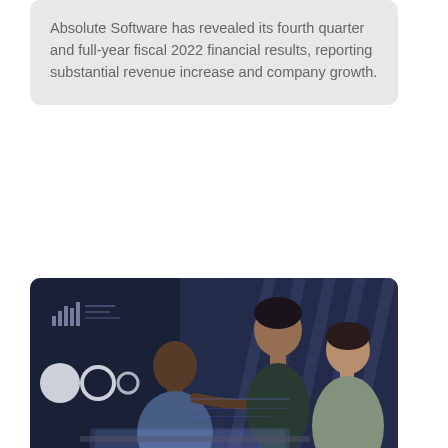Absolute Software has revealed its fourth quarter and full-year fiscal 2022 financial results, reporting substantial revenue increase and company growth.
[Figure (photo): Three people looking at a screen with data visualizations in a dark office setting]
SD-WAN
MetricStream and Aon share best practices at AWS Summit 2022